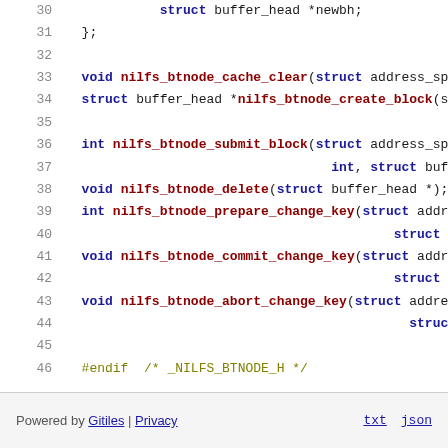[Figure (screenshot): Source code viewer showing lines 30-46 of a C header file (btnode.h) with syntax highlighting. Keywords in dark blue bold, function names in dark red bold, preprocessor directives in olive/yellow. Line numbers shown in gray on the left.]
Powered by Gitiles | Privacy    txt  json